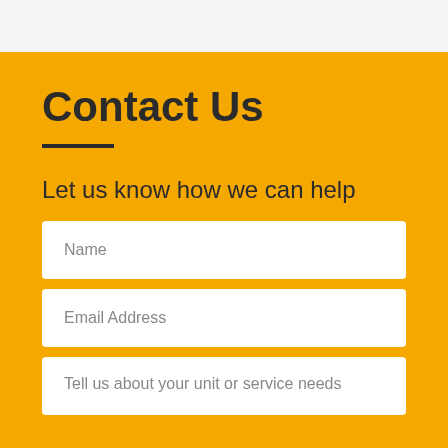Contact Us
Let us know how we can help
Name
Email Address
Tell us about your unit or service needs